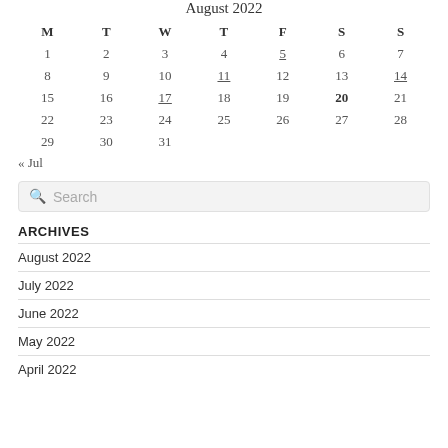August 2022
| M | T | W | T | F | S | S |
| --- | --- | --- | --- | --- | --- | --- |
| 1 | 2 | 3 | 4 | 5 | 6 | 7 |
| 8 | 9 | 10 | 11 | 12 | 13 | 14 |
| 15 | 16 | 17 | 18 | 19 | 20 | 21 |
| 22 | 23 | 24 | 25 | 26 | 27 | 28 |
| 29 | 30 | 31 |  |  |  |  |
« Jul
Search
ARCHIVES
August 2022
July 2022
June 2022
May 2022
April 2022